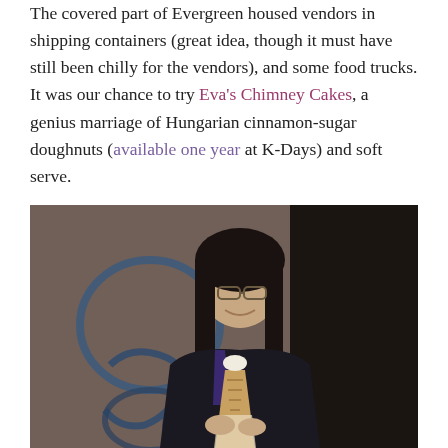The covered part of Evergreen housed vendors in shipping containers (great idea, though it must have still been chilly for the vendors), and some food trucks. It was our chance to try Eva's Chimney Cakes, a genius marriage of Hungarian cinnamon-sugar doughnuts (available one year at K-Days) and soft serve.
[Figure (photo): A young woman with glasses and long dark hair, wearing a black jacket, smiling and holding a chimney cake (a cylindrical doughnut cone filled with soft serve ice cream), standing in front of a graffiti-covered brick wall.]